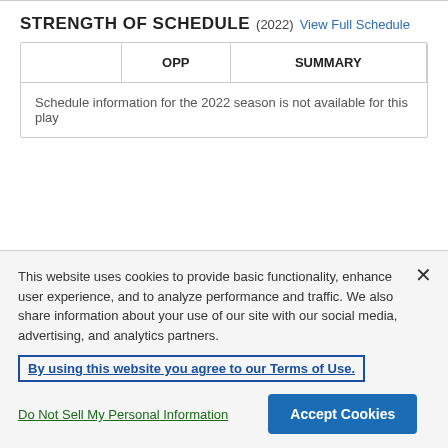STRENGTH OF SCHEDULE (2022) View Full Schedule
|  | OPP | SUMMARY |
| --- | --- | --- |
| Schedule information for the 2022 season is not available for this player. |
This website uses cookies to provide basic functionality, enhance user experience, and to analyze performance and traffic. We also share information about your use of our site with our social media, advertising, and analytics partners.
By using this website you agree to our Terms of Use.
Do Not Sell My Personal Information
Accept Cookies